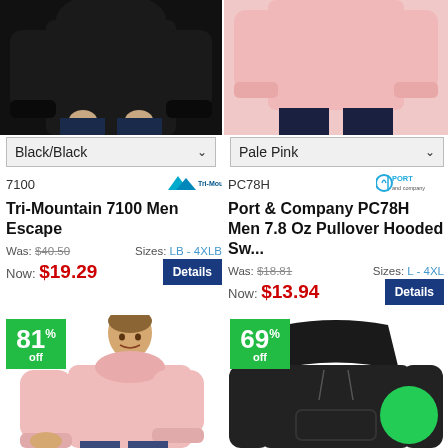[Figure (photo): Person wearing black hoodie/sweatshirt, cropped at torso]
[Figure (photo): Person wearing pale pink pullover sweatshirt, cropped at torso]
Black/Black
Pale Pink
7100
[Figure (logo): Tri-Mountain logo]
Tri-Mountain 7100 Men Escape
Was: $40.50  Sizes: LB - 4XLB
Now: $19.29
Details
PC78H
[Figure (logo): Port & Company logo]
Port & Company PC78H Men 7.8 Oz Pullover Hooded Sw...
Was: $18.81  Sizes: L - 4XL
Now: $13.94
Details
[Figure (photo): 81% off badge; man wearing pale pink hoodie pullover sweatshirt]
[Figure (photo): 69% off badge; black pullover hooded sweatshirt with green circle badge]